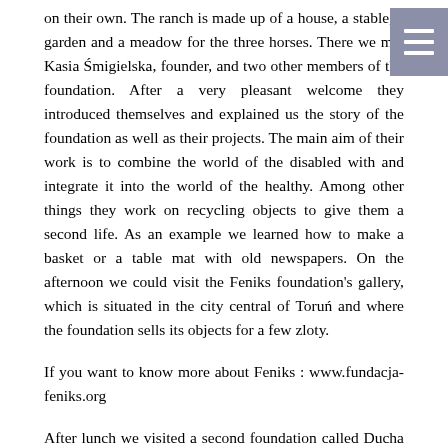on their own. The ranch is made up of a house, a stable, a garden and a meadow for the three horses. There we met Kasia Śmigielska, founder, and two other members of the foundation. After a very pleasant welcome they introduced themselves and explained us the story of the foundation as well as their projects. The main aim of their work is to combine the world of the disabled with and integrate it into the world of the healthy. Among other things they work on recycling objects to give them a second life. As an example we learned how to make a basket or a table mat with old newspapers. On the afternoon we could visit the Feniks foundation's gallery, which is situated in the city central of Toruń and where the foundation sells its objects for a few zloty.
If you want to know more about Feniks : www.fundacja-feniks.org
After lunch we visited a second foundation called Ducha that also works with disabled children. Two members of the foundation explained us their main activity. They offer a therapy for disabled persons based on a combination of horseriding (hippotherapy) and climbing. About fourty volunteers help the foundation and organize many workshops and other projects like hiking and summer camps.
More information about Ducha under: www.fundacjaducha.pl